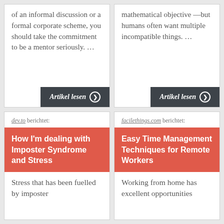of an informal discussion or a formal corporate scheme, you should take the commitment to be a mentor seriously. ...
Artikel lesen ❯
mathematical objective —but humans often want multiple incompatible things. ...
Artikel lesen ❯
dev.to berichtet:
How I'm dealing with Imposter Syndrome and Stress
Stress that has been fuelled by imposter
facilethings.com berichtet:
Easy Time Management Techniques for Remote Workers
Working from home has excellent opportunities